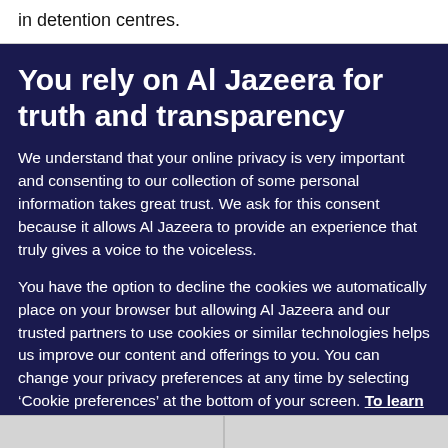in detention centres.
You rely on Al Jazeera for truth and transparency
We understand that your online privacy is very important and consenting to our collection of some personal information takes great trust. We ask for this consent because it allows Al Jazeera to provide an experience that truly gives a voice to the voiceless.
You have the option to decline the cookies we automatically place on your browser but allowing Al Jazeera and our trusted partners to use cookies or similar technologies helps us improve our content and offerings to you. You can change your privacy preferences at any time by selecting ‘Cookie preferences’ at the bottom of your screen. To learn more, please view our Cookie Policy.